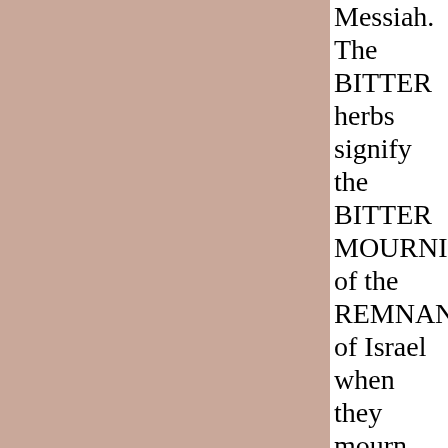[Figure (other): Large pinkish-mauve colored rectangular panel occupying the left portion of the page]
Messiah. The BITTER herbs signify the BITTER MOURNING of the REMNANT of Israel when they mourn for their Messiah whom their forefathers